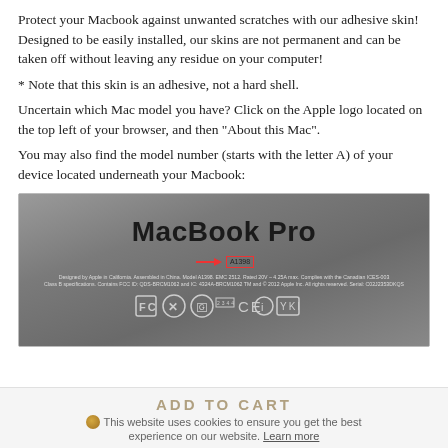Protect your Macbook against unwanted scratches with our adhesive skin! Designed to be easily installed, our skins are not permanent and can be taken off without leaving any residue on your computer!
* Note that this skin is an adhesive, not a hard shell.
Uncertain which Mac model you have? Click on the Apple logo located on the top left of your browser, and then "About this Mac".
You may also find the model number (starts with the letter A) of your device located underneath your Macbook:
[Figure (photo): Photo of the underside of a MacBook Pro laptop showing the model label. The label reads 'MacBook Pro' in bold, with a red arrow pointing to the model number 'A1398' which is highlighted with a red rectangle box. Fine print text shows regulatory information, and FCC/CE compliance logos appear at the bottom.]
ADD TO CART
This website uses cookies to ensure you get the best experience on our website. Learn more